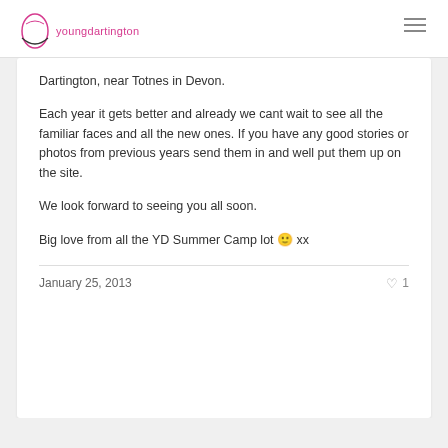youngdartington
Dartington, near Totnes in Devon.
Each year it gets better and already we cant wait to see all the familiar faces and all the new ones. If you have any good stories or photos from previous years send them in and well put them up on the site.
We look forward to seeing you all soon.
Big love from all the YD Summer Camp lot 🙂 xx
January 25, 2013